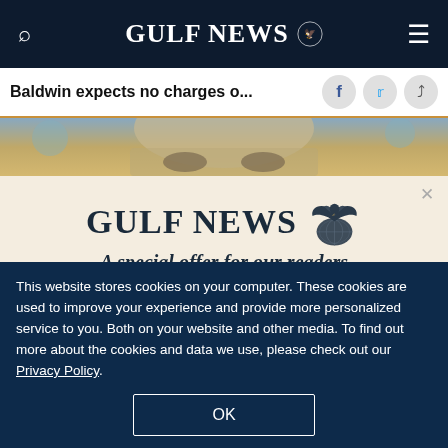GULF NEWS
Baldwin expects no charges o...
[Figure (photo): Partial face photo of a person, cropped to show forehead and eyes area]
GULF NEWS
A special offer for our readers
Get the two years All-Access subscription now
This website stores cookies on your computer. These cookies are used to improve your experience and provide more personalized service to you. Both on your website and other media. To find out more about the cookies and data we use, please check out our Privacy Policy.
OK